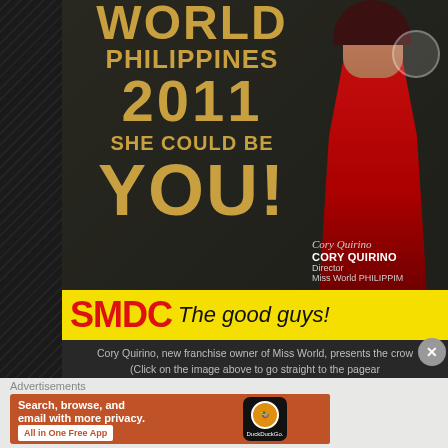[Figure (photo): Miss World Philippines 2011 advertisement featuring large gold text 'WORLD PHILIPPINES 2011 SHE COULD BE YOU!' on dark background with woman in red dress on the right side, and SMDC yellow banner at the bottom reading 'SMDC The good guys!']
Cory Quirino, new franchise owner of Miss World, presents the crow (Click on the image above to go straight to the pagear
Advertisements
[Figure (screenshot): DuckDuckGo advertisement banner on orange/burnt-sienna background with text 'Search, browse, and email with more privacy.' and a button 'All in One Free App', with a phone mockup showing DuckDuckGo logo on the right side.]